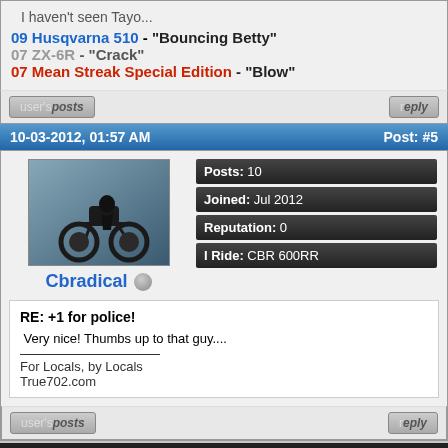I haven't seen Tayo...
09 Husqvarna 510 - "Bouncing Betty"
07 ZX-6R - "Crack"
07 Mean Streak Special Edition - "Blow"
10-03-2012, 01:57 AM | Post: #5
Cbradical
Posts: 10
Joined: Jul 2012
Reputation: 0
I Ride: CBR 600RR
RE: +1 for police!
Very nice! Thumbs up to that guy....
For Locals, by Locals
True702.com
« Next Oldest | Next Newest »